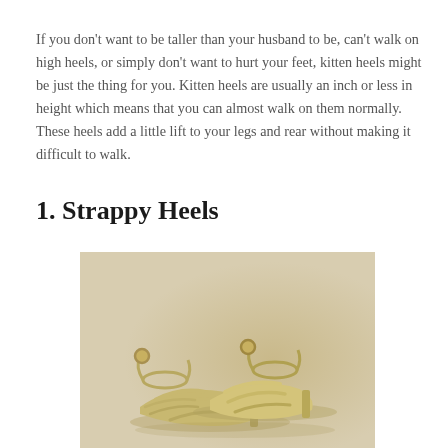If you don't want to be taller than your husband to be, can't walk on high heels, or simply don't want to hurt your feet, kitten heels might be just the thing for you. Kitten heels are usually an inch or less in height which means that you can almost walk on them normally. These heels add a little lift to your legs and rear without making it difficult to walk.
1. Strappy Heels
[Figure (photo): A pair of gold strappy kitten heels laid flat against a beige/tan background, showing multiple ankle straps and thin heel construction.]